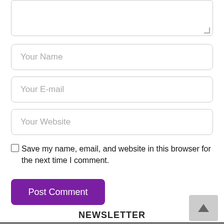[Figure (screenshot): Textarea input box (top portion visible, partially cut off at top)]
Your Name
Your E-mail
Your Website
Save my name, email, and website in this browser for the next time I comment.
Post Comment
NEWSLETTER